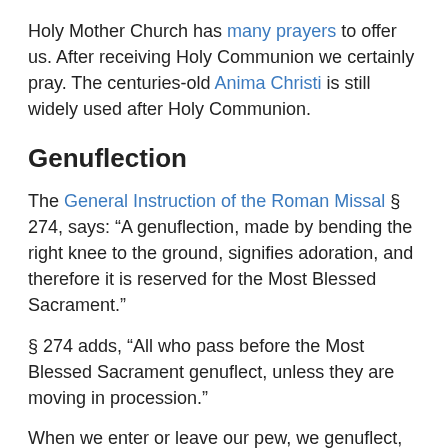Holy Mother Church has many prayers to offer us. After receiving Holy Communion we certainly pray. The centuries-old Anima Christi is still widely used after Holy Communion.
Genuflection
The General Instruction of the Roman Missal § 274, says: “A genuflection, made by bending the right knee to the ground, signifies adoration, and therefore it is reserved for the Most Blessed Sacrament.”
§ 274 adds, “All who pass before the Most Blessed Sacrament genuflect, unless they are moving in procession.”
When we enter or leave our pew, we genuflect, bending